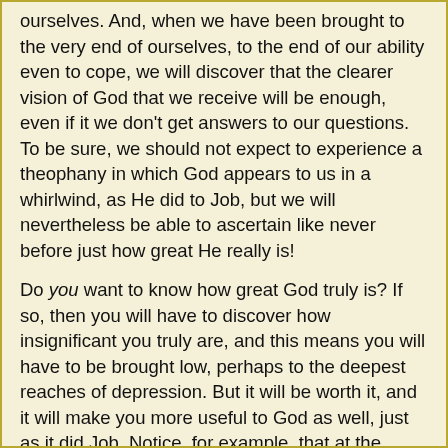ourselves. And, when we have been brought to the very end of ourselves, to the end of our ability even to cope, we will discover that the clearer vision of God that we receive will be enough, even if it we don't get answers to our questions. To be sure, we should not expect to experience a theophany in which God appears to us in a whirlwind, as He did to Job, but we will nevertheless be able to ascertain like never before just how great He really is!
Do you want to know how great God truly is? If so, then you will have to discover how insignificant you truly are, and this means you will have to be brought low, perhaps to the deepest reaches of depression. But it will be worth it, and it will make you more useful to God as well, just as it did Job. Notice, for example, that at the beginning of the book we are told that Job offered sacrifices for his children and interceded for them (1:5). But at the end of the book Job's ministry was expanded to include his friends (42:7-9). Thus he found that he was able to minister to the very friends who had let him down, and he was able to do so in a way he never could have had he not gone through the trials he went through. We are also told that Job received more blessing